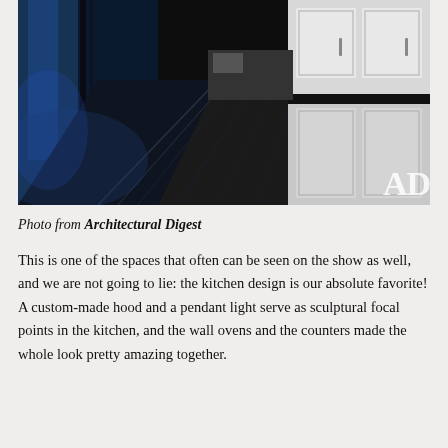[Figure (photo): Interior kitchen photo showing a long dark hallway with reflective black flooring, white cabinetry on the right, blue-tinted lighting on the left side, and an 'AD' (Architectural Digest) watermark in the lower right corner.]
Photo from Architectural Digest
This is one of the spaces that often can be seen on the show as well, and we are not going to lie: the kitchen design is our absolute favorite! A custom-made hood and a pendant light serve as sculptural focal points in the kitchen, and the wall ovens and the counters made the whole look pretty amazing together.